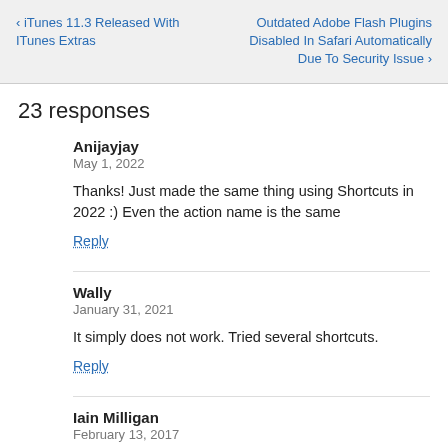‹ ITunes 11.3 Released With ITunes Extras | Outdated Adobe Flash Plugins Disabled In Safari Automatically Due To Security Issue ›
23 responses
Anijayjay
May 1, 2022
Thanks! Just made the same thing using Shortcuts in 2022 :) Even the action name is the same
Reply
Wally
January 31, 2021
It simply does not work. Tried several shortcuts.
Reply
Iain Milligan
February 13, 2017